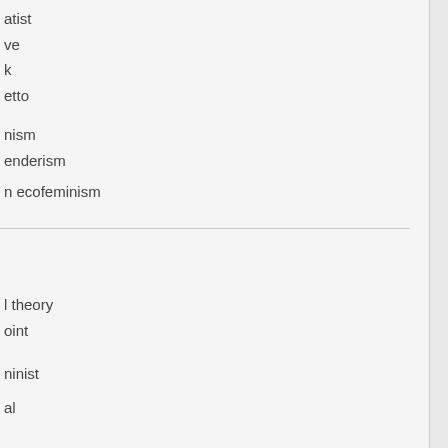atist
ve
k
etto
nism
enderism
n ecofeminism
l theory
oint
ninist
al